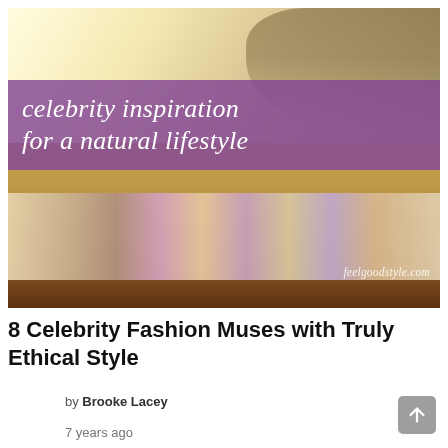[Figure (photo): A stylized banner image for feelgoodstyle.com showing a field scene with an array of handmade natural soaps on a wooden table, overlaid with a purple banner reading 'celebrity inspiration for a natural lifestyle'. The watermark 'feelgoodstyle.com' appears in the lower right of the image.]
8 Celebrity Fashion Muses with Truly Ethical Style
by Brooke Lacey
7 years ago